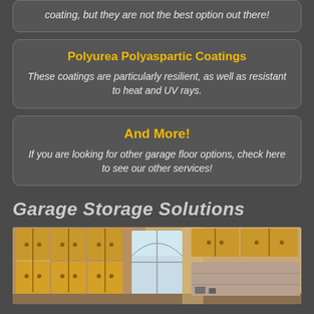coating, but they are not the best option out there!
Polyurea Polyaspartic Coatings
These coatings are particularly resilient, as well as resistant to heat and UV rays.
And More!
If you are looking for other garage floor options, check here to see our other services!
Garage Storage Solutions
[Figure (photo): Interior garage photo showing wooden wall-mounted cabinets on either side of an arched window, with garage door and bright natural light.]